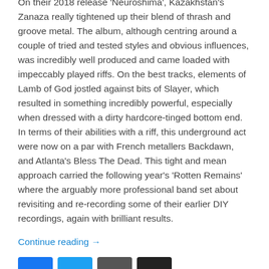On their 2018 release 'Neuroshima', Kazakhstan's Zanaza really tightened up their blend of thrash and groove metal. The album, although centring around a couple of tried and tested styles and obvious influences, was incredibly well produced and came loaded with impeccably played riffs. On the best tracks, elements of Lamb of God jostled against bits of Slayer, which resulted in something incredibly powerful, especially when dressed with a dirty hardcore-tinged bottom end. In terms of their abilities with a riff, this underground act were now on a par with French metallers Backdawn, and Atlanta's Bless The Dead. This tight and mean approach carried the following year's 'Rotten Remains' where the arguably more professional band set about revisiting and re-recording some of their earlier DIY recordings, again with brilliant results.
Continue reading →
[Figure (other): Social sharing icons: Facebook, Twitter, Email, Share]
Posted in Album & EP Reviews | Tagged covers, gojira, kazakhstan, kreator, metal, slayer, stream, thrash metal